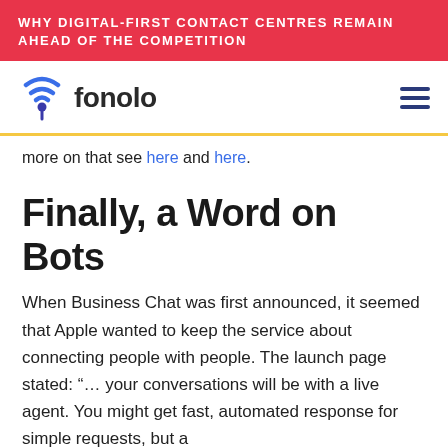WHY DIGITAL-FIRST CONTACT CENTRES REMAIN AHEAD OF THE COMPETITION
[Figure (logo): Fonolo logo with wifi/location pin icon and the word 'fonolo' in dark text]
more on that see here and here.
Finally, a Word on Bots
When Business Chat was first announced, it seemed that Apple wanted to keep the service about connecting people with people. The launch page stated: “… your conversations will be with a live agent. You might get fast, automated response for simple requests, but a